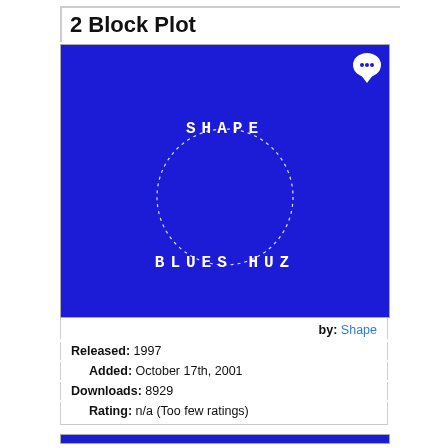2 Block Plot
[Figure (illustration): Album cover with dark blue background, circle outline in center, text 'SHAPE' at top center and 'BLUES HUZ' at bottom center in white pixel/blocky font. A white chat bubble icon in top-right corner.]
by: Shape
Released: 1997
Added: October 17th, 2001
Downloads: 8929
Rating: n/a (Too few ratings)